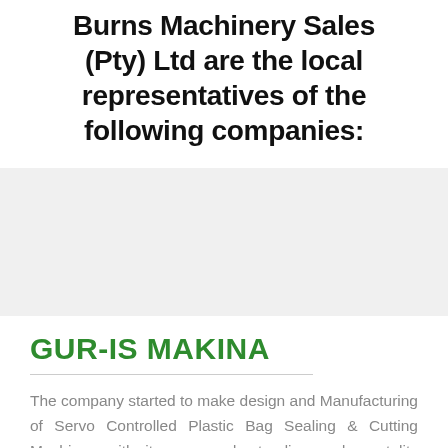Burns Machinery Sales (Pty) Ltd are the local representatives of the following companies:
[Figure (other): Light gray background section, empty placeholder area]
GUR-IS MAKINA
The company started to make design and Manufacturing of Servo Controlled Plastic Bag Sealing & Cutting Machines with its own understanding and mentality about machine manufacturing area in 1998. Specializing in the